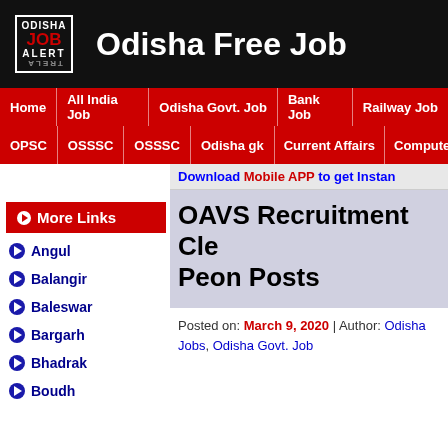Odisha Free Job
Home | All India Job | Odisha Govt. Job | Bank Job | Railway Job
OPSC | OSSSC | OSSSC | Odisha gk | Current Affairs | Computer
Download Mobile APP to get Instan
OAVS Recruitment Cle Peon Posts
Posted on: March 9, 2020 | Author: Odisha Jobs, Odisha Govt. Job
More Links
Angul
Balangir
Baleswar
Bargarh
Bhadrak
Boudh